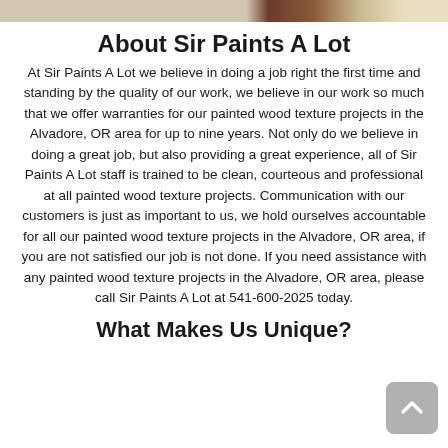[Figure (photo): Partial photo of a painted wood texture surface, light tan and dark brown tones, cropped at the top of the page]
About Sir Paints A Lot
At Sir Paints A Lot we believe in doing a job right the first time and standing by the quality of our work, we believe in our work so much that we offer warranties for our painted wood texture projects in the Alvadore, OR area for up to nine years. Not only do we believe in doing a great job, but also providing a great experience, all of Sir Paints A Lot staff is trained to be clean, courteous and professional at all painted wood texture projects. Communication with our customers is just as important to us, we hold ourselves accountable for all our painted wood texture projects in the Alvadore, OR area, if you are not satisfied our job is not done. If you need assistance with any painted wood texture projects in the Alvadore, OR area, please call Sir Paints A Lot at 541-600-2025 today.
What Makes Us Unique?